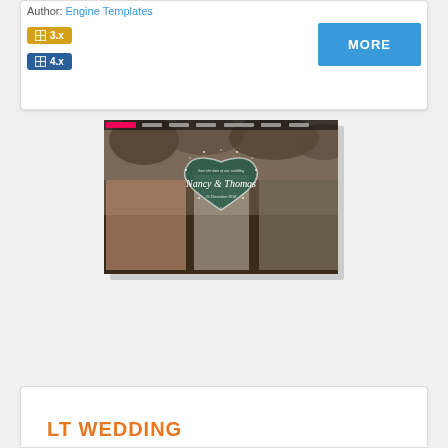Author: Engine Templates
[Figure (screenshot): Version badges: 3.x (gold) and 4.x (blue) with Joomla-like icons, and a blue MORE button on the right]
[Figure (screenshot): Wedding website template screenshot showing Nancy & Thomas wedding photo with bridesmaids in pink and groomsmen, heart overlay with script text, dated 25 December 2018, LT branded template]
LT WEDDING